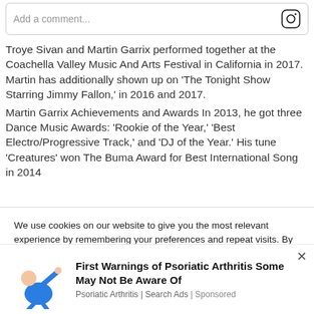[Figure (screenshot): Comment input box with Instagram camera icon on the right, placeholder text 'Add a comment...']
Troye Sivan and Martin Garrix performed together at the Coachella Valley Music And Arts Festival in California in 2017. Martin has additionally shown up on 'The Tonight Show Starring Jimmy Fallon,' in 2016 and 2017.
Martin Garrix Achievements and Awards In 2013, he got three Dance Music Awards: 'Rookie of the Year,' 'Best Electro/Progressive Track,' and 'DJ of the Year.' His tune 'Creatures' won The Buma Award for Best International Song in 2014
We use cookies on our website to give you the most relevant experience by remembering your preferences and repeat visits. By clicking "Accept All", you consent to the use of ALL the cookies. However, you may visit "Cookie Settings" to provide a controlled consent.
[Figure (illustration): Cartoon figure of a person in a blue shirt stretching or reaching]
First Warnings of Psoriatic Arthritis Some May Not Be Aware Of
Psoriatic Arthritis | Search Ads | Sponsored